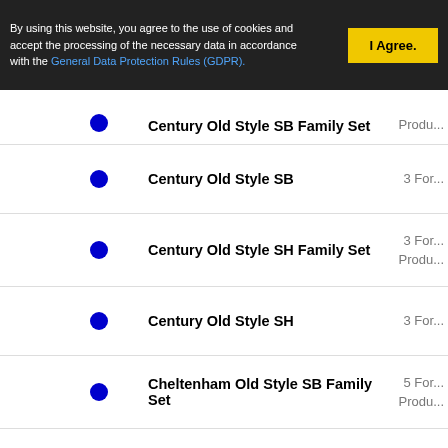By using this website, you agree to the use of cookies and accept the processing of the necessary data in accordance with the General Data Protection Rules (GDPR).
Century Old Style SB Family Set — Produ...
Century Old Style SB — 3 For...
Century Old Style SH Family Set — 3 For... Produ...
Century Old Style SH — 3 For...
Cheltenham Old Style SB Family Set — 5 For... Produ...
Cheltenham Old Style SB — 5 For...
Cloister Old Style SB Family Set — 4 For... Produ...
Cloister Old Style SB — 4 For...